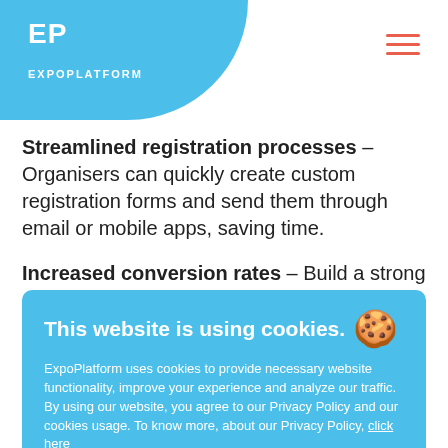[Figure (logo): ExpoPlatform logo with 'EP' letters on blue rounded header background]
Streamlined registration processes – Organisers can quickly create custom registration forms and send them through email or mobile apps, saving time.
Increased conversion rates – Build a strong relationship with your audience by capturing their contact details and key pain points.
This website is using cookies. ExpoPlatform uses cookies to provide necessary website functionality, improve your experience and analyze our traffic. By using our website, you agree to our Privacy Policy and our cookies usage. To know more, about our Privacy Policy, click here
I accept
Data – can segment their audience through preferences filled in